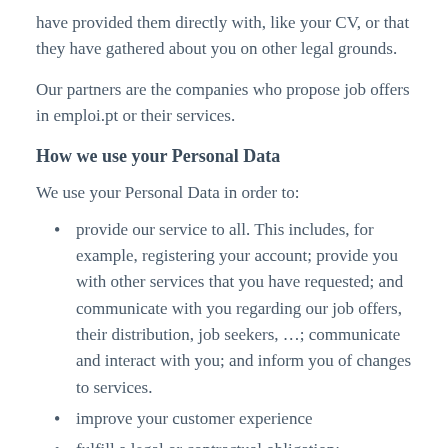have provided them directly with, like your CV, or that they have gathered about you on other legal grounds.
Our partners are the companies who propose job offers in emploi.pt or their services.
How we use your Personal Data
We use your Personal Data in order to:
provide our service to all. This includes, for example, registering your account; provide you with other services that you have requested; and communicate with you regarding our job offers, their distribution, job seekers, …; communicate and interact with you; and inform you of changes to services.
improve your customer experience
fulfill a legal or contractual obligation;